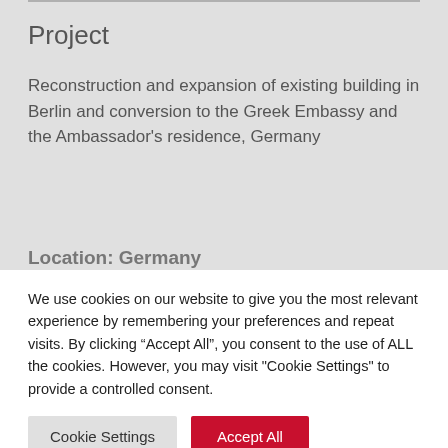Project
Reconstruction and expansion of existing building in Berlin and conversion to the Greek Embassy and the Ambassador's residence, Germany
Location: Germany
We use cookies on our website to give you the most relevant experience by remembering your preferences and repeat visits. By clicking “Accept All”, you consent to the use of ALL the cookies. However, you may visit "Cookie Settings" to provide a controlled consent.
Cookie Settings
Accept All